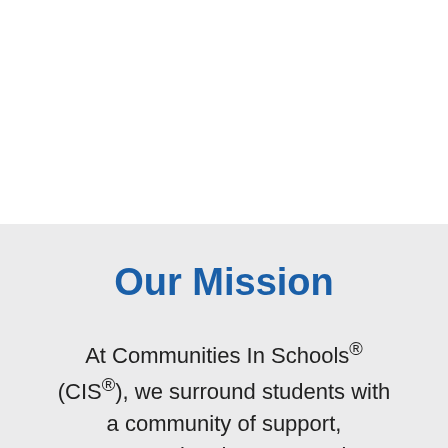Our Mission
At Communities In Schools® (CIS®), we surround students with a community of support, empowering them to stay in